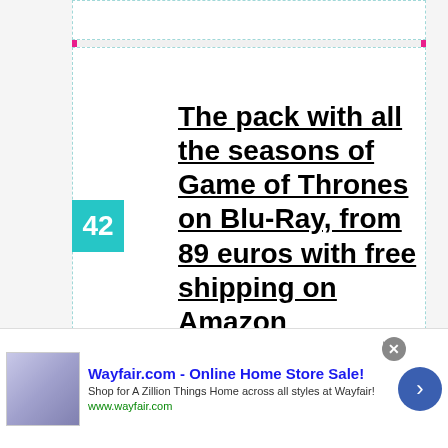The pack with all the seasons of Game of Thrones on Blu-Ray, from 89 euros with free shipping on Amazon
THE SIMS 4: HIGH SCHOOL YEARS PACK ARRIVES THIS SUMMER
Get the new battle pack for CoD
[Figure (screenshot): Advertisement banner for Wayfair.com showing logo, tagline 'Online Home Store Sale!', description text, URL, close button, and navigation arrow]